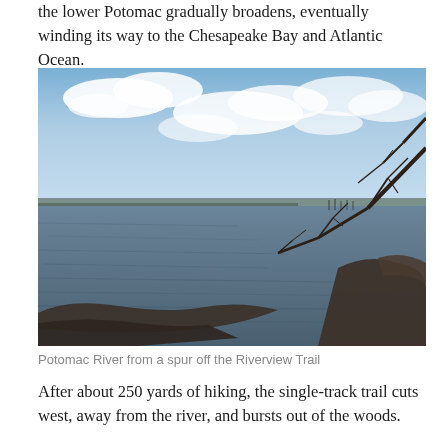the lower Potomac gradually broadens, eventually winding its way to the Chesapeake Bay and Atlantic Ocean.
[Figure (photo): Wide view of the Potomac River from a rocky shoreline. Sky with scattered clouds in the upper half, dark wavy water in the lower half, with bare tree branches extending from the right side, and distant wooded shoreline on the horizon.]
Potomac River from a spur off the Riverview Trail
After about 250 yards of hiking, the single-track trail cuts west, away from the river, and bursts out of the woods.